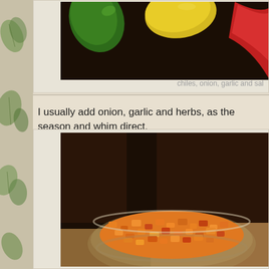[Figure (photo): Top portion of photo showing colorful chiles - green, yellow, and red peppers on a surface]
chiles, onion, garlic and sal
I usually add onion, garlic and herbs, as the season and whim direct.
[Figure (photo): Photo of a glass bowl filled with chopped orange and red pepper salsa/relish on a wooden cutting board with dark background]